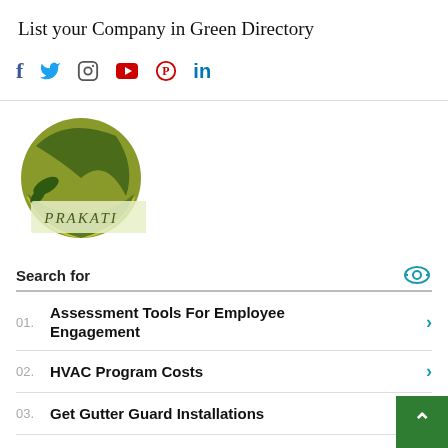List your Company in Green Directory
[Figure (infographic): Social media icons row: Facebook (f), Twitter (bird), Instagram (circle), YouTube (red rectangle), Pinterest (P), LinkedIn (in)]
[Figure (logo): Prakati company logo — circular green/olive graphic with leaf motifs and text 'PRAKATI' on a light banner]
Search for
01. Assessment Tools For Employee Engagement
02. HVAC Program Costs
03. Get Gutter Guard Installations
04. Digital Employee Engagement Platform